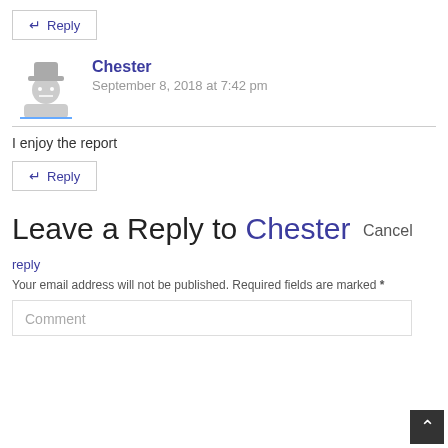↵ Reply
Chester
September 8, 2018 at 7:42 pm
I enjoy the report
↵ Reply
Leave a Reply to Chester Cancel reply
Your email address will not be published. Required fields are marked *
Comment